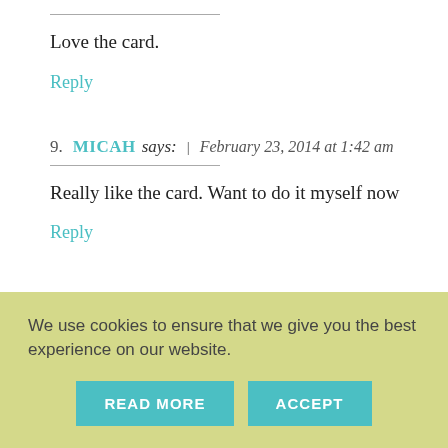Love the card.
Reply
9. MICAH says: | February 23, 2014 at 1:42 am
Really like the card. Want to do it myself now
Reply
We use cookies to ensure that we give you the best experience on our website.
READ MORE
ACCEPT